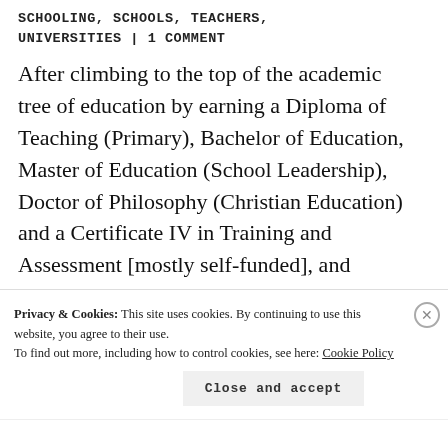SCHOOLING, SCHOOLS, TEACHERS, UNIVERSITIES | 1 COMMENT
After climbing to the top of the academic tree of education by earning a Diploma of Teaching (Primary), Bachelor of Education, Master of Education (School Leadership), Doctor of Philosophy (Christian Education) and a Certificate IV in Training and Assessment [mostly self-funded], and working for about 30 years at all levels of school from Preschool...
Privacy & Cookies: This site uses cookies. By continuing to use this website, you agree to their use.
To find out more, including how to control cookies, see here: Cookie Policy